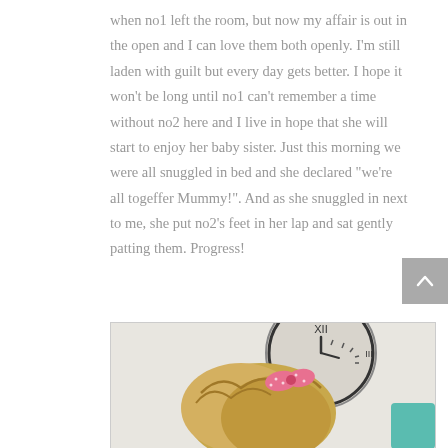when no1 left the room, but now my affair is out in the open and I can love them both openly. I'm still laden with guilt but every day gets better. I hope it won't be long until no1 can't remember a time without no2 here and I live in hope that she will start to enjoy her baby sister. Just this morning we were all snuggled in bed and she declared "we're all togeffer Mummy!". And as she snuggled in next to me, she put no2's feet in her lap and sat gently patting them. Progress!
[Figure (photo): Photo of a young blonde child with a pink bow in her hair, with a large round wall clock visible in the background]